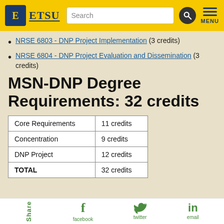ETSU
NRSE 6803 - DNP Project Implementation (3 credits)
NRSE 6804 - DNP Project Evaluation and Dissemination (3 credits)
MSN-DNP Degree Requirements: 32 credits
|  |  |
| --- | --- |
| Core Requirements | 11 credits |
| Concentration | 9 credits |
| DNP Project | 12 credits |
| TOTAL | 32 credits |
Share  facebook  twitter  email